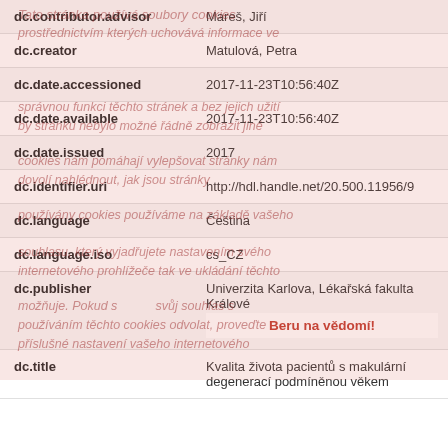| Field | Value |
| --- | --- |
| dc.contributor.advisor | Mareš, Jiří |
| dc.creator | Matulová, Petra |
| dc.date.accessioned | 2017-11-23T10:56:40Z |
| dc.date.available | 2017-11-23T10:56:40Z |
| dc.date.issued | 2017 |
| dc.identifier.uri | http://hdl.handle.net/20.500.11956/9 |
| dc.language | Čeština |
| dc.language.iso | cs_CZ |
| dc.publisher | Univerzita Karlova, Lékařská fakulta Králové |
| dc.title | Kvalita života pacientů s makulární degenerací podmíněnou věkem |
Tato stránka používá soubory cookies prostřednictvím kterých uchovává informace ve správnou funkci těchto stránek a bez jejich užití by stránku nebylo možné řádně zobrazit jiné cookies nám pomáhají vylepšovat stránky nám dovolí nahlédnout jak jsou stránky používány cookies používáme na základě vašeho souhlasu který vyjadřujete nastavením svého internetového prohlížeče tak ve ukládání těchto možňuje Pokud svůj souhlas s používáním těchto cookies odvolat proveďte příslušné nastavení vašeho internetového prohlížeče
Beru na vědomí!